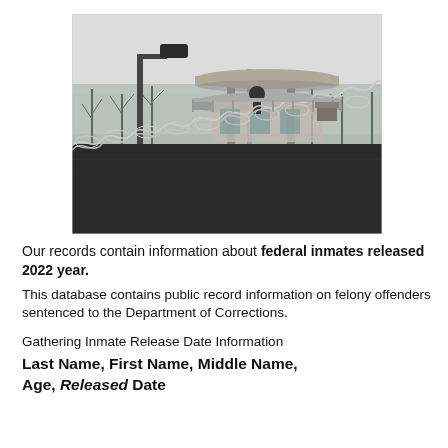[Figure (photo): Prison guard tower surrounded by razor wire on top of a dark wall, with bare winter trees in the background and overcast sky. A guard or person is visible in the tower.]
Our records contain information about federal inmates released 2022 year.
This database contains public record information on felony offenders sentenced to the Department of Corrections.
Gathering Inmate Release Date Information
Last Name, First Name, Middle Name, Age, Released Date